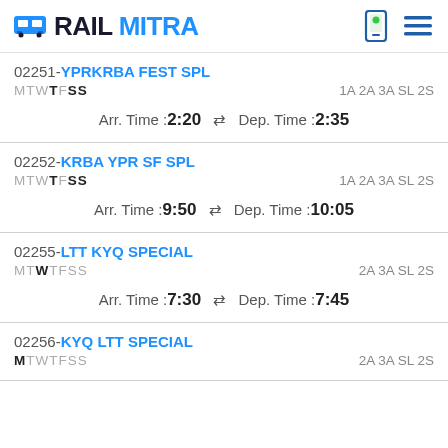RAILMITRA
02251-YPRKRBA FEST SPL
MTWTFSS	1A 2A 3A SL 2S
Arr. Time :2:20  Dep. Time :2:35
02252-KRBA YPR SF SPL
MTWTFSS	1A 2A 3A SL 2S
Arr. Time :9:50  Dep. Time :10:05
02255-LTT KYQ SPECIAL
MTWTFSS	2A 3A SL 2S
Arr. Time :7:30  Dep. Time :7:45
02256-KYQ LTT SPECIAL
MTWTFSS	2A 3A SL 2S